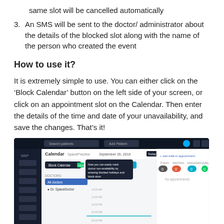same slot will be cancelled automatically
3. An SMS will be sent to the doctor/ administrator about the details of the blocked slot along with the name of the person who created the event
How to use it?
It is extremely simple to use. You can either click on the ‘Block Calendar’ button on the left side of your screen, or click on an appointment slot on the Calendar. Then enter the details of the time and date of your unavailability, and save the changes. That’s it!
[Figure (screenshot): Screenshot of a calendar application showing a 'Block Calendar' button on the left sidebar, a tooltip popup saying 'Now you can easily mark doctor non-availability by entering blocked holidays and block slots', a date navigation showing September 26, 2016, day/week/month view options, and a calendar grid with time slots including a highlighted horizontal bar, with a right sidebar showing appointment statistics (Today, Waiting, Engaged, Queue all showing 0) and 'No appointments' message.]